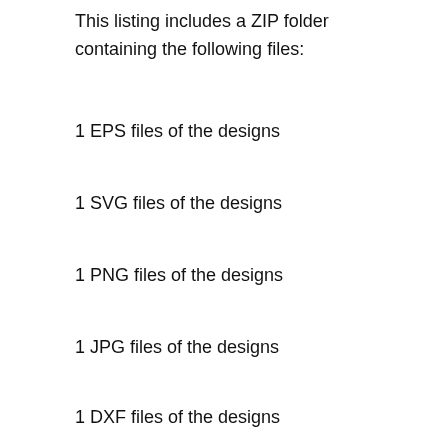This listing includes a ZIP folder containing the following files:
1 EPS files of the designs
1 SVG files of the designs
1 PNG files of the designs
1 JPG files of the designs
1 DXF files of the designs